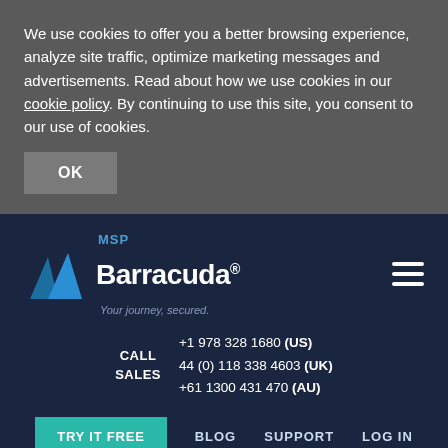We use cookies to offer you a better browsing experience, analyze site traffic, optimize marketing messages and advertisements. Read about how we use cookies in our cookie policy. By continuing to use this site, you consent to our use of cookies.
[Figure (logo): OK button for cookie consent]
[Figure (logo): Barracuda MSP logo with two blue shark fins and text 'Barracuda. Your journey, secured.' with hamburger menu icon]
CALL SALES  +1 978 328 1680 (US)  44 (0) 118 338 4603 (UK)  +61 1300 431 470 (AU)
TRY IT FREE   BLOG   SUPPORT   LOG IN